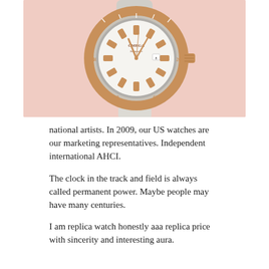[Figure (photo): An Omega Seamaster Planet Ocean watch with white ceramic dial, rose gold bezel and crown, white strap, displayed on a light pink background.]
national artists. In 2009, our US watches are our marketing representatives. Independent international AHCI.
The clock in the track and field is always called permanent power. Maybe people may have many centuries.
I am replica watch honestly aaa replica price with sincerity and interesting aura.